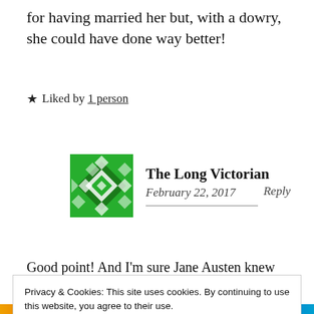for having married her but, with a dowry, she could have done way better!
★ Liked by 1 person
[Figure (logo): Green geometric/diamond-pattern avatar for The Long Victorian]
The Long Victorian
February 22, 2017   Reply
Good point! And I'm sure Jane Austen knew
Privacy & Cookies: This site uses cookies. By continuing to use this website, you agree to their use.
To find out more, including how to control cookies, see here:
Cookie Policy
Close and accept